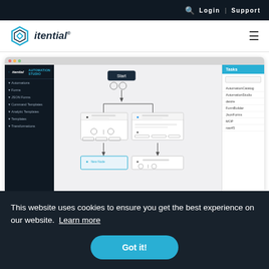🔍  Login  |  Support
[Figure (logo): Itential logo with hexagon shield icon and italic text 'itential®']
[Figure (screenshot): Screenshot of Itential Automation Studio interface showing a workflow diagram with Start node, task nodes, and a Tasks panel on the right with items: AutomationCatalog, AutomationStudio, desire, FormBuilder, JsonForms, MOP, nas45]
This website uses cookies to ensure you get the best experience on our website.  Learn more
Got it!
Low-Code